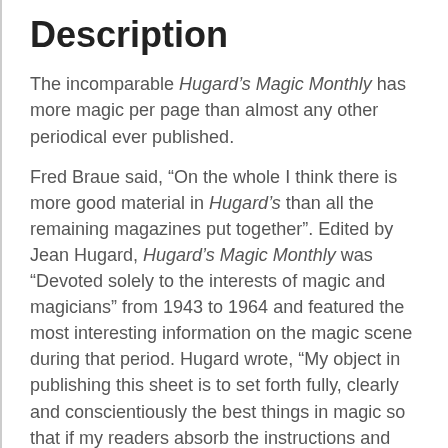Description
The incomparable Hugard's Magic Monthly has more magic per page than almost any other periodical ever published.
Fred Braue said, “On the whole I think there is more good material in Hugard’s than all the remaining magazines put together”. Edited by Jean Hugard, Hugard’s Magic Monthly was “Devoted solely to the interests of magic and magicians” from 1943 to 1964 and featured the most interesting information on the magic scene during that period. Hugard wrote, “My object in publishing this sheet is to set forth fully, clearly and conscientiously the best things in magic so that if my readers absorb the instructions and carry them out in practice they will acquire a repertoire of good magic